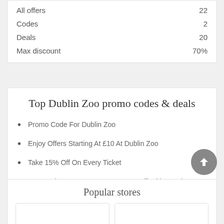|  |  |
| --- | --- |
| All offers | 22 |
| Codes | 2 |
| Deals | 20 |
| Max discount | 70% |
Top Dublin Zoo promo codes & deals
Promo Code For Dublin Zoo
Enjoy Offers Starting At £10 At Dublin Zoo
Take 15% Off On Every Ticket
Free And Easy Returns Up To 30% Off With Vouchers
Check Out The Opening Times On Dublin Zoo
Popular stores
[Figure (photo): Blue background image with splash/wave motif and dark silhouette at bottom, store card thumbnail]
[Figure (photo): Empty white store card thumbnail]